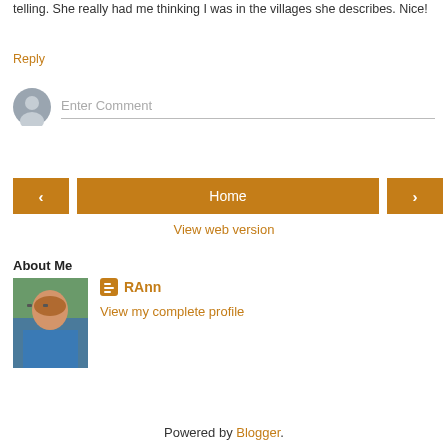telling. She really had me thinking I was in the villages she describes. Nice!
Reply
[Figure (other): Comment input area with avatar placeholder and 'Enter Comment' text field]
[Figure (other): Navigation buttons: left arrow, Home (center), right arrow]
View web version
About Me
[Figure (photo): Profile photo of RAnn, a woman with short reddish hair and glasses wearing a blue top]
RAnn
View my complete profile
Powered by Blogger.